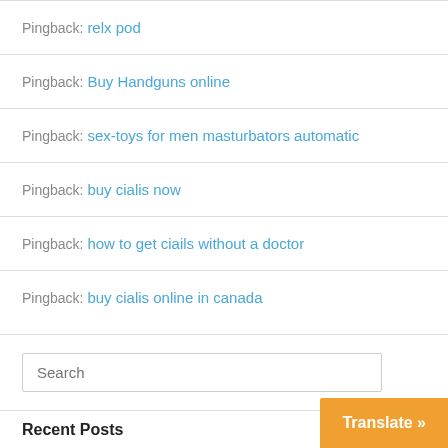Pingback: relx pod
Pingback: Buy Handguns online
Pingback: sex-toys for men masturbators automatic
Pingback: buy cialis now
Pingback: how to get ciails without a doctor
Pingback: buy cialis online in canada
Search
Recent Posts
Translate »